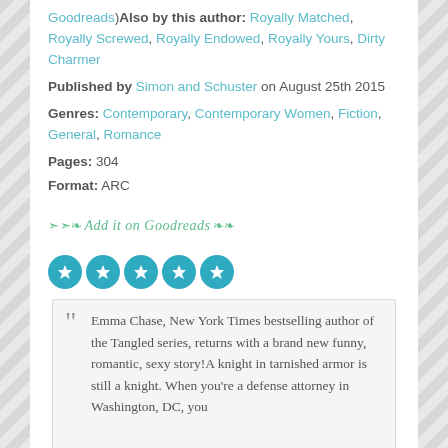Goodreads) Also by this author: Royally Matched, Royally Screwed, Royally Endowed, Royally Yours, Dirty Charmer
Published by Simon and Schuster on August 25th 2015
Genres: Contemporary, Contemporary Women, Fiction, General, Romance
Pages: 304
Format: ARC
[Figure (other): Add it on Goodreads decorative button with arrow and leaf flourishes in green italic script]
[Figure (other): Five teal/blue circular star rating icons in a row, each circle containing a white star]
Emma Chase, New York Times bestselling author of the Tangled series, returns with a brand new funny, romantic, sexy story!A knight in tarnished armor is still a knight. When you're a defense attorney in Washington, DC, you